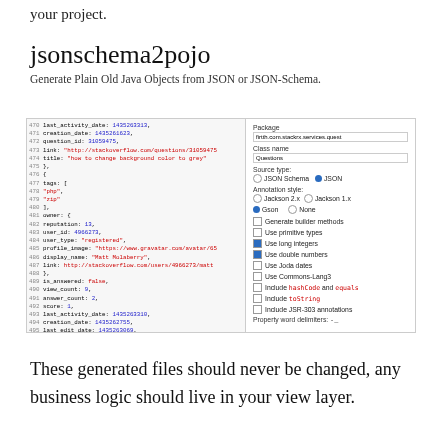your project.
jsonschema2pojo
Generate Plain Old Java Objects from JSON or JSON-Schema.
[Figure (screenshot): Screenshot of the jsonschema2pojo web tool showing JSON code on the left panel and configuration options on the right panel including Package, Class name, Source type (JSON selected), Annotation style (Gson selected), and various checkboxes for code generation options.]
These generated files should never be changed, any business logic should live in your view layer.